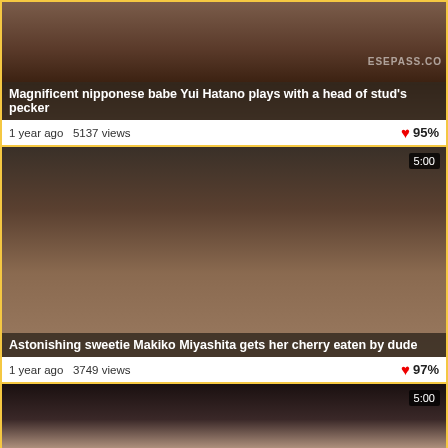[Figure (screenshot): Video thumbnail 1 - close-up photo, dark tones]
Magnificent nipponese babe Yui Hatano plays with a head of stud's pecker
1 year ago  5137 views   95%
[Figure (screenshot): Video thumbnail 2 - close-up photo, duration badge 5:00]
Astonishing sweetie Makiko Miyashita gets her cherry eaten by dude
1 year ago  3749 views   97%
[Figure (screenshot): Video thumbnail 3 - close-up photo, duration badge 5:00]